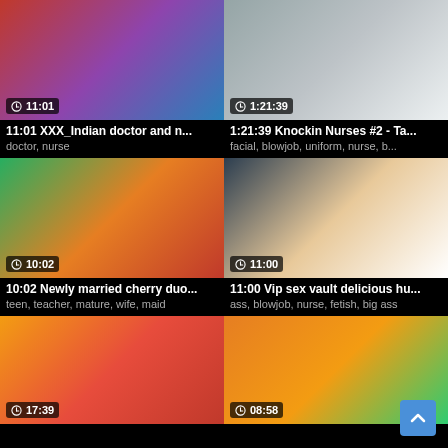[Figure (screenshot): Video thumbnail 1 with duration 11:01]
11:01 XXX_Indian doctor and n...
doctor, nurse
[Figure (screenshot): Video thumbnail 2 with duration 1:21:39]
1:21:39 Knockin Nurses #2 - Ta...
facial, blowjob, uniform, nurse, b...
[Figure (screenshot): Video thumbnail 3 with duration 10:02]
10:02 Newly married cherry duo...
teen, teacher, mature, wife, maid
[Figure (screenshot): Video thumbnail 4 with duration 11:00]
11:00 Vip sex vault delicious hu...
ass, blowjob, nurse, fetish, big ass
[Figure (screenshot): Video thumbnail 5 with duration 17:39]
[Figure (screenshot): Video thumbnail 6 with duration 08:58]